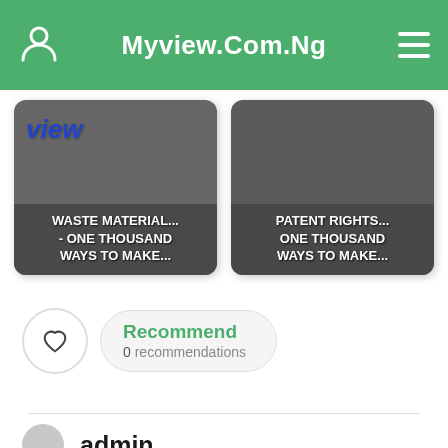Myview.Com.Ng
[Figure (screenshot): Two article thumbnail cards side by side. Left card shows 'WASTE MATERIAL... - ONE THOUSAND WAYS TO MAKE...' with 'view' watermark in blue. Right card shows 'PATENT RIGHTS... ONE THOUSAND WAYS TO MAKE...']
Recommend
0 recommendations
admin